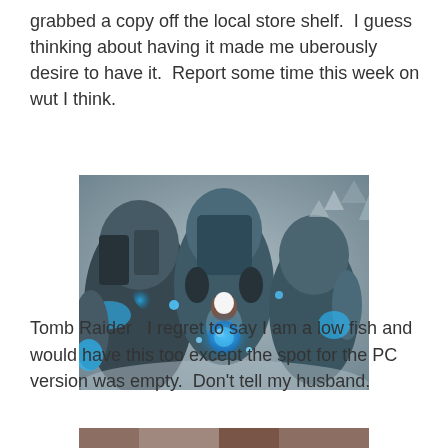grabbed a copy off the local store shelf.  I guess thinking about having it made me uberously desire to have it.  Report some time this week on wut I think.
[Figure (illustration): Video game artwork showing a small fantasy character surrounded by large armored figures with blue glowing elements in a misty environment]
Tomb Raider   I regret to say I am a low fish and would have this too except the spot for the PC version was empty.  Don't tell my husband.
[Figure (photo): Partial image cut off at bottom of page]